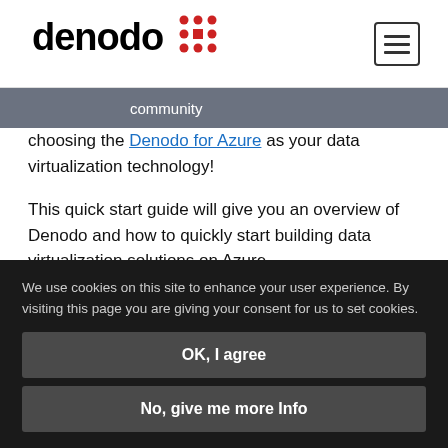denodo [logo] community
choosing the Denodo for Azure as your data virtualization technology!
This quick start guide will give you an overview of Denodo and how to quickly start building data virtualization solutions on Azure.
Marketplace Offering
We use cookies on this site to enhance your user experience. By visiting this page you are giving your consent for us to set cookies.
OK, I agree
No, give me more Info